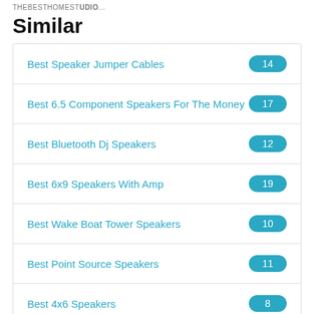THEBESTHOMEST...
Similar
Best Speaker Jumper Cables
Best 6.5 Component Speakers For The Money
Best Bluetooth Dj Speakers
Best 6x9 Speakers With Amp
Best Wake Boat Tower Speakers
Best Point Source Speakers
Best 4x6 Speakers
Best By...